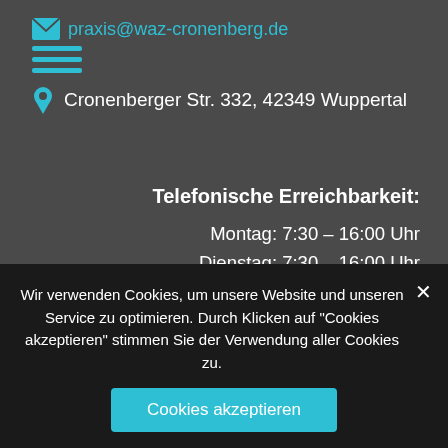praxis@waz-cronenberg.de
Cronenberger Str. 332, 42349 Wuppertal
Telefonische Erreichbarkeit:
Montag: 7:30 – 16:00 Uhr
Dienstag: 7:30 – 16:00 Uhr
Mittwoch: 7:30 – 13:00 Uhr
Donnerstag: 7:30 – 16:00 Uhr
Freitag: 7:30 – 13:00 Uhr
Termine nach Absprache
Wir verwenden Cookies, um unsere Website und unseren Service zu optimieren. Durch Klicken auf "Cookies akzeptieren" stimmen Sie der Verwendung aller Cookies zu.